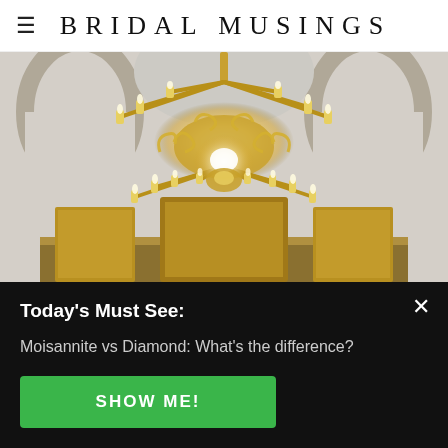BRIDAL MUSINGS
[Figure (photo): Large ornate gold chandelier hanging in a white church interior with arched ceilings and golden altar furniture below]
We use cookies to optimize our website and our
Today's Must See:
Moisannite vs Diamond: What's the difference?
SHOW ME!